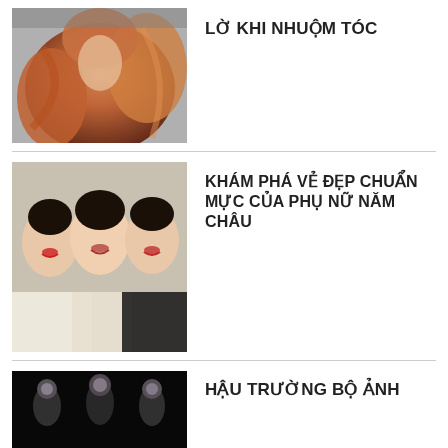[Figure (photo): Woman with flowing red/auburn hair against grey background]
LỜ KHI NHUỘM TÓC
[Figure (photo): Three smiling Asian women in black and white outfits]
KHÁM PHÁ VẺ ĐẸP CHUẨN MỰC CỦA PHỤ NỮ NĂM CHÂU
[Figure (photo): Dark backstage photo shoot scene]
HẬU TRƯỜNG BỘ ẢNH